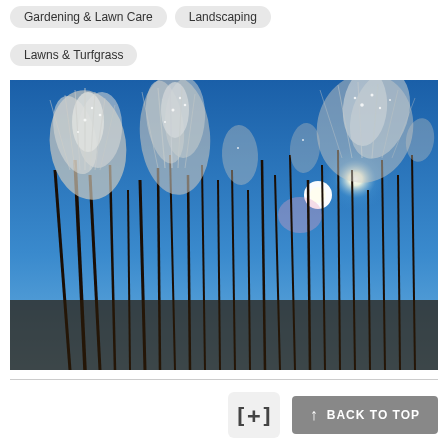Gardening & Lawn Care
Landscaping
Lawns & Turfgrass
[Figure (photo): Ornamental grasses with white feathery plumes backlit by a bright sun against a clear blue sky, shot from a low angle looking upward.]
[+]
BACK TO TOP